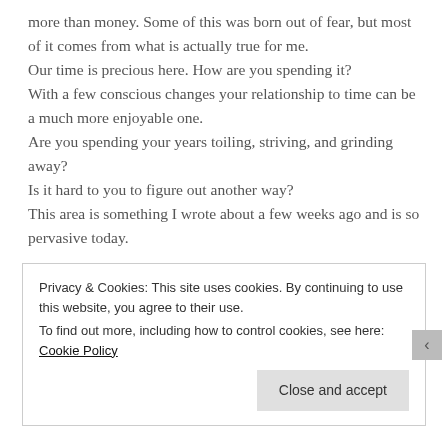more than money. Some of this was born out of fear, but most of it comes from what is actually true for me.
Our time is precious here. How are you spending it?
With a few conscious changes your relationship to time can be a much more enjoyable one.
Are you spending your years toiling, striving, and grinding away?
Is it hard to you to figure out another way?
This area is something I wrote about a few weeks ago and is so pervasive today.
3. I wish I'd had the courage to express my feelings.
Privacy & Cookies: This site uses cookies. By continuing to use this website, you agree to their use.
To find out more, including how to control cookies, see here: Cookie Policy